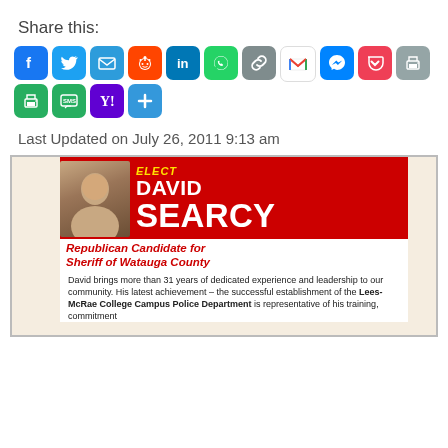Share this:
[Figure (infographic): Row of social media sharing icons: Facebook (blue), Twitter (blue), Email (teal), Reddit (orange), LinkedIn (blue), WhatsApp (green), Copy link (grey), Gmail (red/white), Messenger (blue), Pocket (pink), Print (grey)]
[Figure (infographic): Second row of sharing icons: Print (green), SMS (green), Yahoo (purple), More/Add (blue)]
Last Updated on July 26, 2011 9:13 am
[Figure (infographic): Political campaign ad for David Searcy, Republican Candidate for Sheriff of Watauga County. Red background with white bold text 'ELECT DAVID SEARCY', italic yellow text 'ELECT', red italic text on white 'Republican Candidate for Sheriff of Watauga County', body text: 'David brings more than 31 years of dedicated experience and leadership to our community. His latest achievement – the successful establishment of the Lees-McRae College Campus Police Department is representative of his training, commitment']